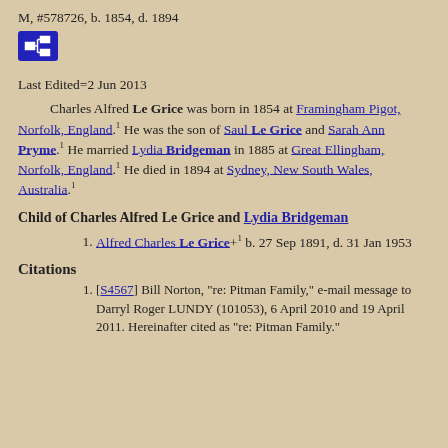M, #578726, b. 1854, d. 1894
[Figure (other): Blue icon button with family tree/pedigree chart symbol (white rectangles connected by lines)]
Last Edited=2 Jun 2013
Charles Alfred Le Grice was born in 1854 at Framingham Pigot, Norfolk, England.1 He was the son of Saul Le Grice and Sarah Ann Pryme.1 He married Lydia Bridgeman in 1885 at Great Ellingham, Norfolk, England.1 He died in 1894 at Sydney, New South Wales, Australia.1
Child of Charles Alfred Le Grice and Lydia Bridgeman
Alfred Charles Le Grice+1 b. 27 Sep 1891, d. 31 Jan 1953
Citations
[S4567] Bill Norton, "re: Pitman Family," e-mail message to Darryl Roger LUNDY (101053), 6 April 2010 and 19 April 2011. Hereinafter cited as "re: Pitman Family."